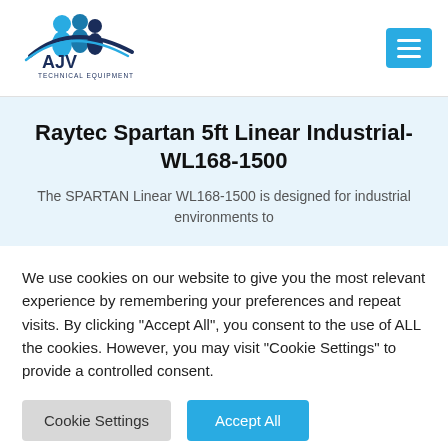[Figure (logo): AJV Technical Equipment logo with stylized blue figures and swoosh]
Raytec Spartan 5ft Linear Industrial-WL168-1500
The SPARTAN Linear WL168-1500 is designed for industrial environments to
We use cookies on our website to give you the most relevant experience by remembering your preferences and repeat visits. By clicking "Accept All", you consent to the use of ALL the cookies. However, you may visit "Cookie Settings" to provide a controlled consent.